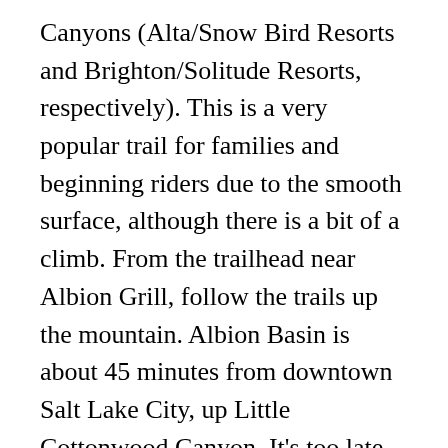Canyons (Alta/Snow Bird Resorts and Brighton/Solitude Resorts, respectively). This is a very popular trail for families and beginning riders due to the smooth surface, although there is a bit of a climb. From the trailhead near Albion Grill, follow the trails up the mountain. Albion Basin is about 45 minutes from downtown Salt Lake City, up Little Cottonwood Canyon. It's too late to see them in full force, but you might run into a few straggler flowers. Trailhead: Albion Campground (end of the Little Cottonwood Canyon road) This trail is by far the most popular wildflower hike in the Wasatch. I've been up hiking in Albion Basin and Cecret Lake three times. There is a trail just behind